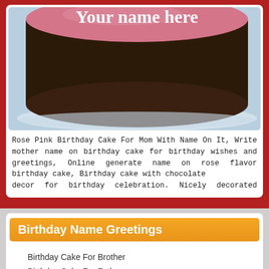[Figure (photo): A rose pink birthday cake with chocolate sides and the text 'Your name here' written in white on top, photographed against a light blue background.]
Rose Pink Birthday Cake For Mom With Name On It, Write mother name on birthday cake for birthday wishes and greetings, Online generate name on rose flavor birthday cake, Birthday cake with chocolate decor for birthday celebration. Nicely decorated birthday for dear...
Birthday Name Greetings
Birthday Cake For Brother
Birthday Cake For Father
Birthday Cake For Friend
Birthday Cake For Husband
Birthday Cake For Lover
Birthday Cake For Mother